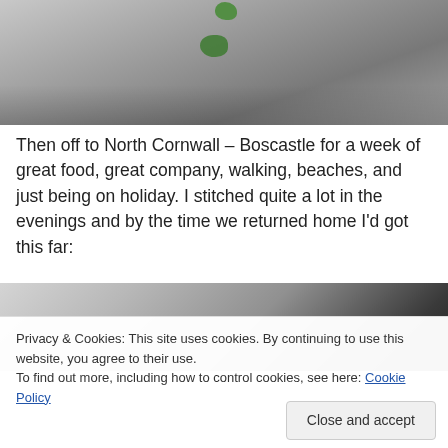[Figure (photo): Top portion of a photo showing a light gray/white fabric or surface with small green sea glass pieces on it]
Then off to North Cornwall – Boscastle for a week of great food, great company, walking, beaches, and just being on holiday. I stitched quite a lot in the evenings and by the time we returned home I'd got this far:
[Figure (photo): Partial photo of a craft/stitching project on a light surface with dark areas at top right]
Privacy & Cookies: This site uses cookies. By continuing to use this website, you agree to their use.
To find out more, including how to control cookies, see here: Cookie Policy
Close and accept